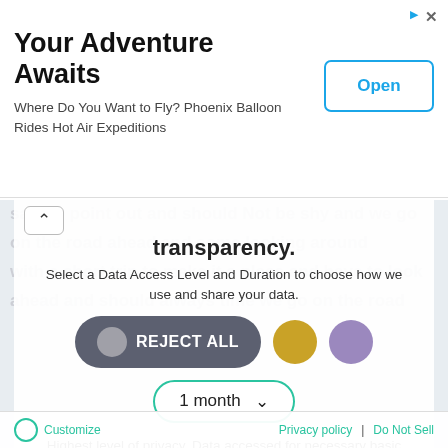[Figure (screenshot): Advertisement banner: 'Your Adventure Awaits - Where Do You Want to Fly? Phoenix Balloon Rides Hot Air Expeditions' with an 'Open' button]
transparency.
Select a Data Access Level and Duration to choose how we use and share your data.
REJECT ALL
1 month
Highest level of privacy. Data accessed for necessary basic operations only. Data shared with 3rd parties to ensure the site is secure and works on your device
Save my preferences
Customize   Privacy policy  |  Do Not Sell